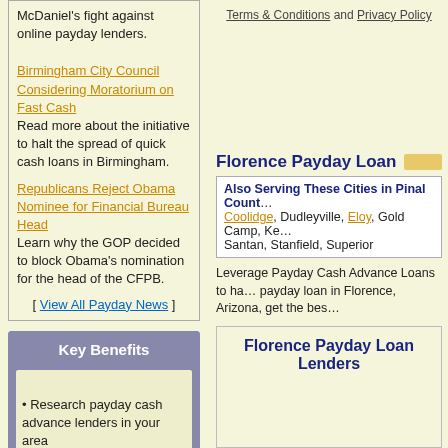McDaniel's fight against online payday lenders.
Birmingham City Council Considering Moratorium on Fast Cash
Read more about the initiative to halt the spread of quick cash loans in Birmingham.
Republicans Reject Obama Nominee for Financial Bureau Head
Learn why the GOP decided to block Obama's nomination for the head of the CFPB.
[ View All Payday News ]
Key Benefits
Research payday cash advance lenders in your area
Terms & Conditions and Privacy Policy
Florence Payday Loan
Also Serving These Cities in Pinal County: Coolidge, Dudleyville, Eloy, Gold Camp, Kearny, Santan, Stanfield, Superior
Leverage Payday Cash Advance Loans to ha... payday loan in Florence, Arizona, get the bes...
Florence Payday Loan Lenders